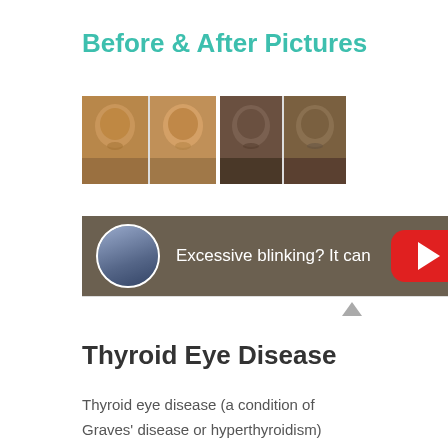Before & After Pictures
[Figure (photo): Two pairs of before-and-after facial photos showing patients with thyroid eye disease treatment results]
[Figure (screenshot): YouTube video thumbnail showing a doctor with text 'Excessive blinking? It can be controlled' and a YouTube play button]
Thyroid Eye Disease
Thyroid eye disease (a condition of Graves' disease or hyperthyroidism) causes the eyes to bulge forward and the